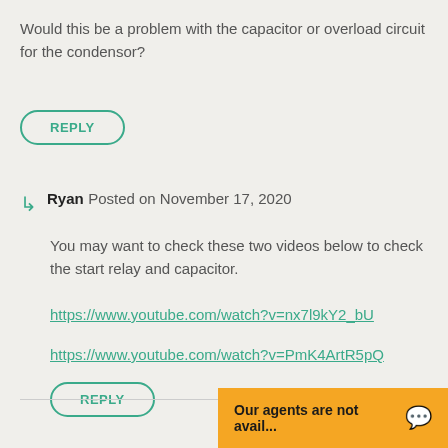Would this be a problem with the capacitor or overload circuit for the condensor?
REPLY
Ryan Posted on November 17, 2020
You may want to check these two videos below to check the start relay and capacitor.
https://www.youtube.com/watch?v=nx7l9kY2_bU
https://www.youtube.com/watch?v=PmK4ArtR5pQ
REPLY
Our agents are not avail...